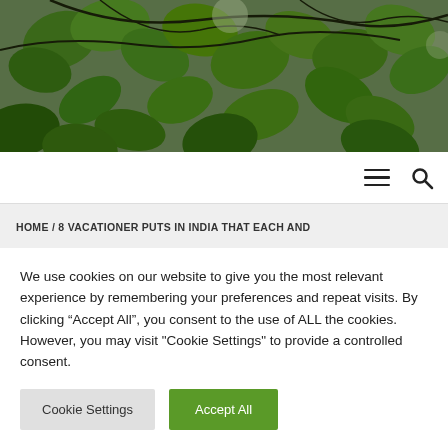[Figure (photo): Close-up photo of green leaves with dark branches against a light sky background, lush foliage]
HOME / 8 VACATIONER PUTS IN INDIA THAT EACH AND
We use cookies on our website to give you the most relevant experience by remembering your preferences and repeat visits. By clicking “Accept All”, you consent to the use of ALL the cookies. However, you may visit "Cookie Settings" to provide a controlled consent.
Cookie Settings
Accept All